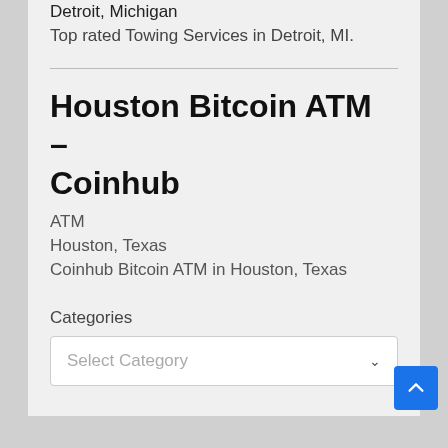Detroit, Michigan
Top rated Towing Services in Detroit, MI.
Houston Bitcoin ATM – Coinhub
ATM
Houston, Texas
Coinhub Bitcoin ATM in Houston, Texas
Categories
Select Category